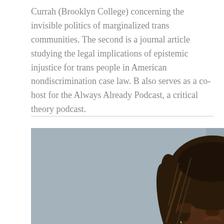Currah (Brooklyn College) concerning the invisible politics of marginalized trans communities. The second is a journal article studying the legal implications of epistemic injustice for trans people in American nondiscrimination case law. B also serves as a co-host for the Always Already Podcast, a critical theory podcast.
[Figure (photo): Portrait photograph of a young Black woman with long twisted braids, wearing a dark turtleneck, looking at the camera with chin resting near her hand, against a grey background.]